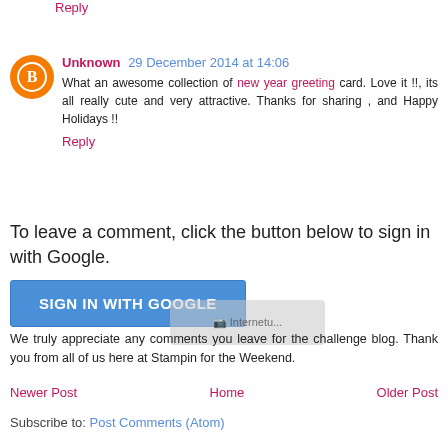Reply
Unknown  29 December 2014 at 14:06
What an awesome collection of new year greeting card. Love it !!, its all really cute and very attractive. Thanks for sharing , and Happy Holidays !!
Reply
To leave a comment, click the button below to sign in with Google.
SIGN IN WITH GOOGLE
We truly appreciate any comments you leave for the challenge blog. Thank you from all of us here at Stampin for the Weekend.
Newer Post    Home    Older Post
Subscribe to: Post Comments (Atom)